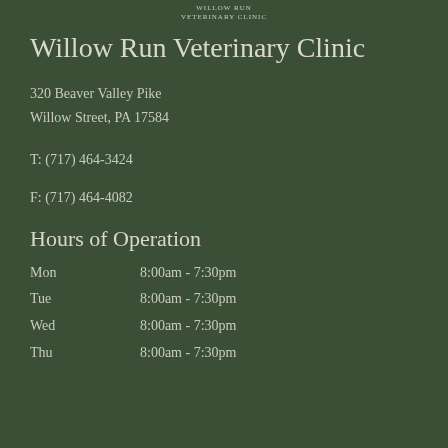Willow Run
Veterinary Clinic
Willow Run Veterinary Clinic
320 Beaver Valley Pike
Willow Street, PA  17584
T: (717) 464-3424
F: (717) 464-4082
Hours of Operation
Mon    8:00am - 7:30pm
Tue    8:00am - 7:30pm
Wed    8:00am - 7:30pm
Thu    8:00am - 7:30pm